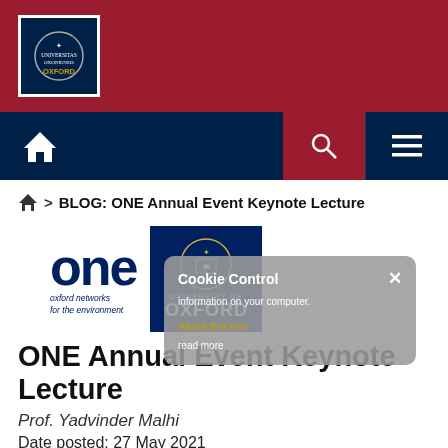[Figure (logo): University of Oxford logo in white box on dark crimson banner]
[Figure (screenshot): Navigation bar with home icon, search and menu buttons on dark navy/crimson background]
🏠 > BLOG: ONE Annual Event Keynote Lecture
[Figure (logo): Oxford Networks for the Environment (ONE) logo alongside University of Oxford shield logo on navy background]
ONE Annual Event Keynote Lecture
Prof. Yadvinder Malhi
Date posted: 27 May 2021
[Figure (screenshot): Cookie Control popup overlay with close button, text about cookie information, About this tool link, and read more link]